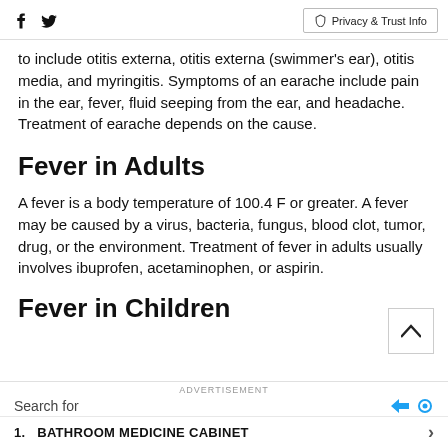Social icons (Facebook, Twitter) | Privacy & Trust Info
to include otitis externa, otitis externa (swimmer's ear), otitis media, and myringitis. Symptoms of an earache include pain in the ear, fever, fluid seeping from the ear, and headache. Treatment of earache depends on the cause.
Fever in Adults
A fever is a body temperature of 100.4 F or greater. A fever may be caused by a virus, bacteria, fungus, blood clot, tumor, drug, or the environment. Treatment of fever in adults usually involves ibuprofen, acetaminophen, or aspirin.
Fever in Children
ADVERTISEMENT
Search for
BATHROOM MEDICINE CABINET